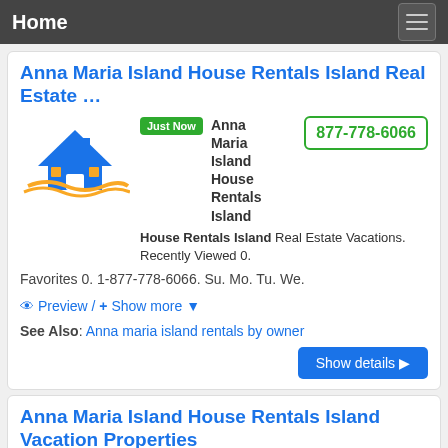Home
Anna Maria Island House Rentals Island Real Estate …
Just Now Anna Maria Island House Rentals Island Real Estate Vacations. Recently Viewed 0. Favorites 0. 1-877-778-6066. Su. Mo. Tu. We.
877-778-6066
Preview / + Show more
See Also: Anna maria island rentals by owner
Show details ▶
Anna Maria Island House Rentals Island Vacation Properties
2 hours ago On your vacation to Anna